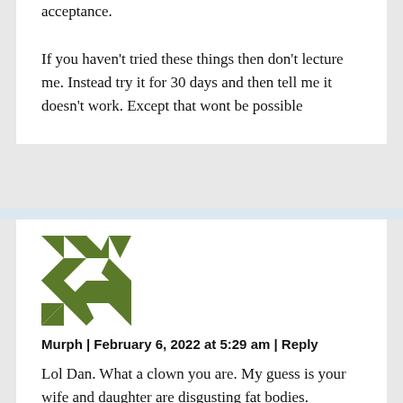acceptance.

If you haven't tried these things then don't lecture me. Instead try it for 30 days and then tell me it doesn't work. Except that wont be possible
[Figure (illustration): Green and white geometric quilt-pattern avatar image for user Murph]
Murph | February 6, 2022 at 5:29 am | Reply
Lol Dan. What a clown you are. My guess is your wife and daughter are disgusting fat bodies.